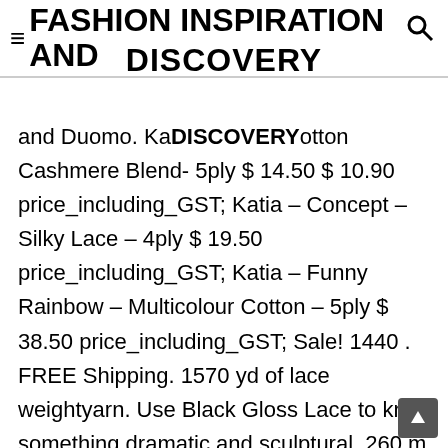≡FASHION INSPIRATION AND DISCOVERY
and Duomo. Katia – 100% Cotton Cashmere Blend- 5ply $ 14.50 $ 10.90 price_including_GST; Katia – Concept – Silky Lace – 4ply $ 19.50 price_including_GST; Katia – Funny Rainbow – Multicolour Cotton – 5ply $ 38.50 price_including_GST; Sale! 1440 . FREE Shipping. 1570 yd of lace weightyarn. Use Black Gloss Lace to knit something dramatic and sculptural. 260 m / 284 y / 50 g 26 sts = 4" on 3mm / US2.5 80% merino wool / 20% silk Machine wash gentle to 30 degrees, lay flat to dry. Thanks to its clever blend of the finest